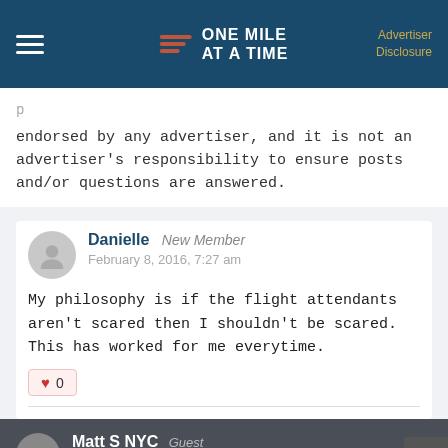ONE MILE AT A TIME | Advertiser Disclosure
endorsed by any advertiser, and it is not an advertiser's responsibility to ensure posts and/or questions are answered.
Danielle  New Member
February 8, 2016, 7:27 am
My philosophy is if the flight attendants aren't scared then I shouldn't be scared. This has worked for me everytime.
Matt S NYC  Guest
January 23, 2016, 3:42 pm
@Lucky - I appreciate this post. When I was